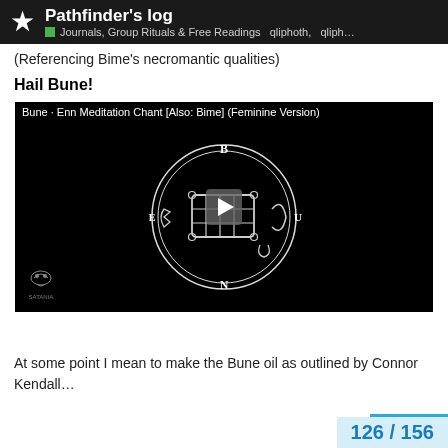Pathfinder's log — Journals, Group Rituals & Free Readings   qliphoth, qliph…
(Referencing Bime's necromantic qualities)
Hail Bune!
[Figure (screenshot): Embedded video thumbnail showing a demonic sigil (Bune/Bime) — a white sigil on black background with circles and occult symbols, with a play button overlay. Title: 'Bune · Enn Meditation Chant [Also: Bime] (Feminine Version)']
At some point I mean to make the Bune oil as outlined by Connor Kendall…